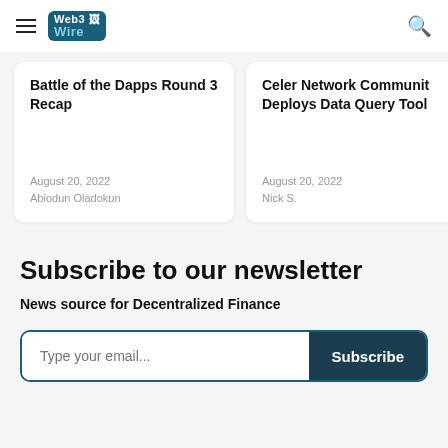Web3Wire
Battle of the Dapps Round 3 Recap
August 20, 2022
Abiodun Oladokun
Celer Network Community Deploys Data Query Tool
August 20, 2022
Nick S.
Subscribe to our newsletter
News source for Decentralized Finance
Type your email...  Subscribe